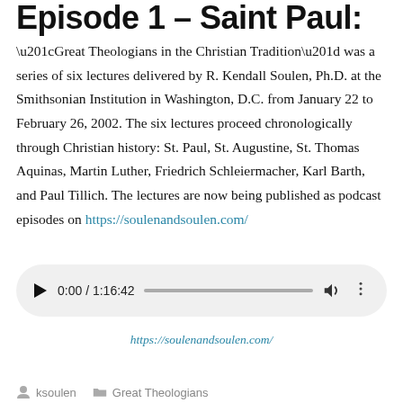Episode 1 – Saint Paul:
“Great Theologians in the Christian Tradition” was a series of six lectures delivered by R. Kendall Soulen, Ph.D. at the Smithsonian Institution in Washington, D.C. from January 22 to February 26, 2002. The six lectures proceed chronologically through Christian history: St. Paul, St. Augustine, St. Thomas Aquinas, Martin Luther, Friedrich Schleiermacher, Karl Barth, and Paul Tillich. The lectures are now being published as podcast episodes on https://soulenandsoulen.com/
[Figure (other): Audio player widget showing 0:00 / 1:16:42 with play button, progress bar, volume icon, and more options icon]
https://soulenandsoulen.com/
ksoulen   Great Theologians